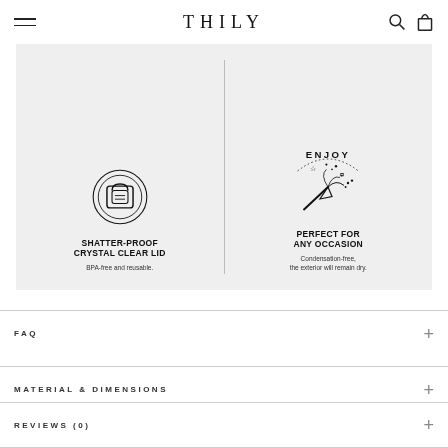THILY
[Figure (infographic): Product feature graphic showing two panels side by side on a light grey background. Left panel: icon of a shatter-proof crystal clear lid (circular badge with lock/clasp icon). Text: SHATTER-PROOF CRYSTAL CLEAR LID. BPA-free and reusable. Right panel: decorative 'ENJOY' party popper icon with dotted arc. Text: PERFECT FOR ANY OCCASION. Condensation-free, the exterior will remain dry.]
FAQ
MATERIAL & DIMENSIONS
REVIEWS (0)